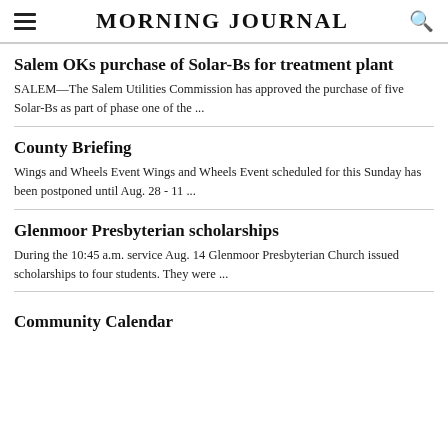MORNING JOURNAL
Salem OKs purchase of Solar-Bs for treatment plant
SALEM—The Salem Utilities Commission has approved the purchase of five Solar-Bs as part of phase one of the ...
County Briefing
Wings and Wheels Event Wings and Wheels Event scheduled for this Sunday has been postponed until Aug. 28 - 11 ...
Glenmoor Presbyterian scholarships
During the 10:45 a.m. service Aug. 14 Glenmoor Presbyterian Church issued scholarships to four students. They were ...
Community Calendar